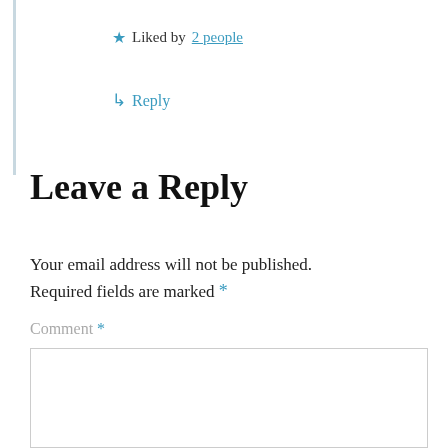★ Liked by 2 people
↳ Reply
Leave a Reply
Your email address will not be published. Required fields are marked *
Comment *
[Figure (other): Empty comment text area input box]